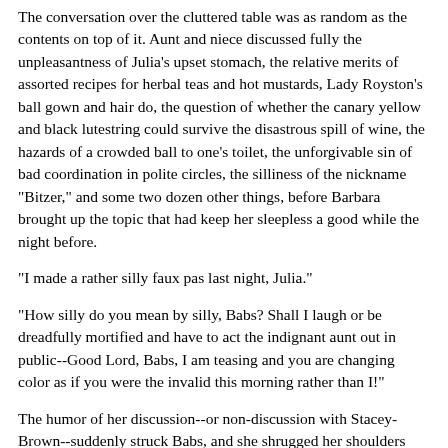The conversation over the cluttered table was as random as the contents on top of it. Aunt and niece discussed fully the unpleasantness of Julia's upset stomach, the relative merits of assorted recipes for herbal teas and hot mustards, Lady Royston's ball gown and hair do, the question of whether the canary yellow and black lutestring could survive the disastrous spill of wine, the hazards of a crowded ball to one's toilet, the unforgivable sin of bad coordination in polite circles, the silliness of the nickname "Bitzer," and some two dozen other things, before Barbara brought up the topic that had keep her sleepless a good while the night before.
"I made a rather silly faux pas last night, Julia."
"How silly do you mean by silly, Babs? Shall I laugh or be dreadfully mortified and have to act the indignant aunt out in public--Good Lord, Babs, I am teasing and you are changing color as if you were the invalid this morning rather than I!"
The humor of her discussion--or non-discussion with Stacey-Brown--suddenly struck Babs, and she shrugged her shoulders with a grin and small chuckle. "Good Lord, Julia, I must have been sick myself to act so silly. I was not thinking about what was happening, but planning the future and somehow found myself accepting an invitation from an acquaintance that had not been issued--